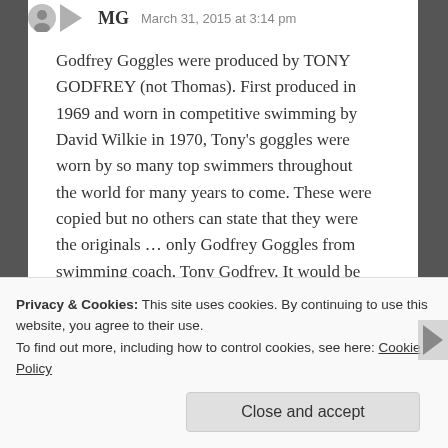MG  March 31, 2015 at 3:14 pm
Godfrey Goggles were produced by TONY GODFREY (not Thomas). First produced in 1969 and worn in competitive swimming by David Wilkie in 1970, Tony's goggles were worn by so many top swimmers throughout the world for many years to come. These were copied but no others can state that they were the originals … only Godfrey Goggles from swimming coach, Tony Godfrey. It would be nice if this was recorded in the swimming hall of fame … How do I get this recorded?
★ Like
Reply
Privacy & Cookies: This site uses cookies. By continuing to use this website, you agree to their use.
To find out more, including how to control cookies, see here: Cookie Policy
Close and accept